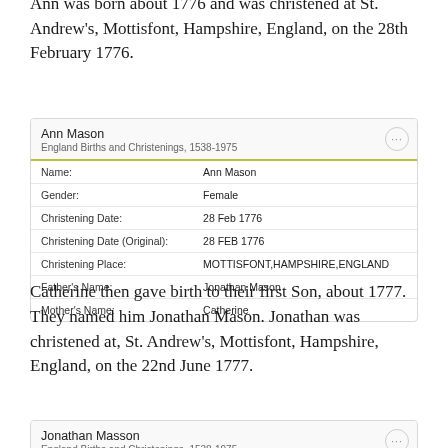Ann was born about 1776 and was christened at St. Andrew's, Mottisfont, Hampshire, England, on the 28th February 1776.
| Name: | Ann Mason |
| Gender: | Female |
| Christening Date: | 28 Feb 1776 |
| Christening Date (Original): | 28 FEB 1776 |
| Christening Place: | MOTTISFONT,HAMPSHIRE,ENGLAND |
| Father's Name: | Jonathan Mason |
| Mother's Name: | Catherine |
Catherine then gave birth to their first Son, about 1777. They named him Jonathan Mason. Jonathan was christened at, St. Andrew's, Mottisfont, Hampshire, England, on the 22nd June 1777.
| Jonathan Masson |  |
| England Births and Christenings, 1538-1975 |  |